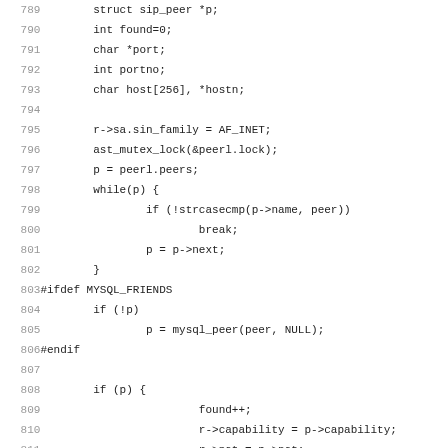[Figure (screenshot): Source code listing in C showing lines 789-820 with line numbers on the left and code on the right. The code involves SIP peer lookup and capability/NAT handling.]